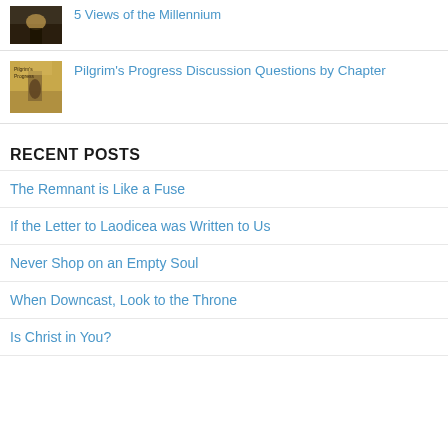[Figure (photo): Small thumbnail image of a dimly lit scene, likely a person or figure in mist/fog]
5 Views of the Millennium
[Figure (photo): Small thumbnail image of a person walking, resembling Pilgrim's Progress book cover]
Pilgrim's Progress Discussion Questions by Chapter
RECENT POSTS
The Remnant is Like a Fuse
If the Letter to Laodicea was Written to Us
Never Shop on an Empty Soul
When Downcast, Look to the Throne
Is Christ in You?